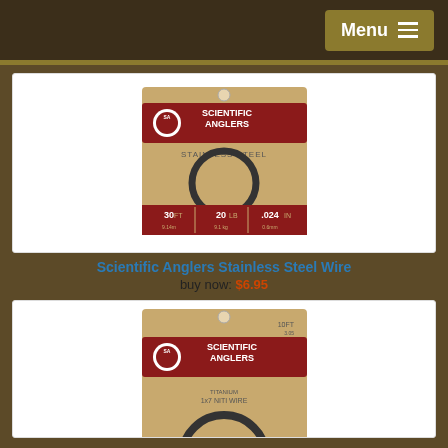Menu
[Figure (photo): Scientific Anglers Stainless Steel Wire product package - tan/kraft paper package with red label, showing coiled black wire. Label reads: SCIENTIFIC ANGLERS, STAINLESS STEEL, 30 FT, 20 LB, .024 IN]
Scientific Anglers Stainless Steel Wire
buy now: $6.95
[Figure (photo): Scientific Anglers 1x7 Niti Wire product package - tan/kraft paper package with red label, showing coiled black wire. Label reads: SCIENTIFIC ANGLERS, 10 FT, 35 LB, .017 IN, 10FT]